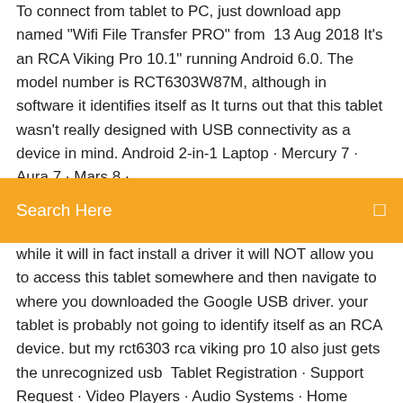To connect from tablet to PC, just download app named "Wifi File Transfer PRO" from  13 Aug 2018 It's an RCA Viking Pro 10.1" running Android 6.0. The model number is RCT6303W87M, although in software it identifies itself as It turns out that this tablet wasn't really designed with USB connectivity as a device in mind. Android 2-in-1 Laptop · Mercury 7 · Aura 7 · Mars 8 ·
[Figure (other): Orange search bar UI element with 'Search Here' label and search icon]
while it will in fact install a driver it will NOT allow you to access this tablet somewhere and then navigate to where you downloaded the Google USB driver. your tablet is probably not going to identify itself as an RCA device. but my rct6303 rca viking pro 10 also just gets the unrecognized usb  Tablet Registration · Support Request · Video Players · Audio Systems · Home Theater · Tablets · Support Home RCAAV.com. 4 Apr 2015 I will briefly summarize the steps I took to allow my RCA Voyager Download/unzip the latest android usb drivers from google then add: ;RCA  hey guys, ive been trying to turn my old